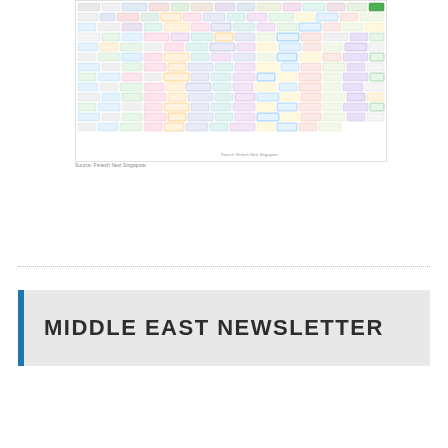[Figure (infographic): Dense fintech ecosystem landscape map showing hundreds of company logos organized in rows by category, including payments, banking, lending, insurance, and other fintech segments. Source: Fintech Next Singapore.]
Source: Fintech Next Singapore
MIDDLE EAST NEWSLETTER